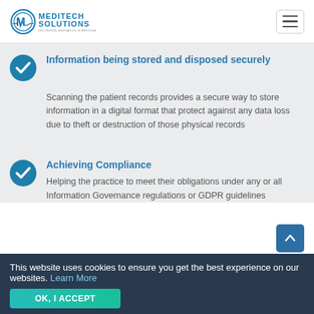MediTech Solutions — Delivering Innovation in Medicine
Information being stored and disposed securely
Scanning the patient records provides a secure way to store information in a digital format that protect against any data loss due to theft or destruction of those physical records
Achieving Compliance
Helping the practice to meet their obligations under any or all Information Governance regulations or GDPR guidelines
This website uses cookies to ensure you get the best experience on our websites. Learn More